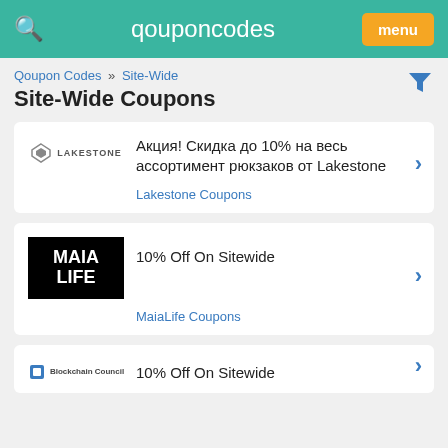qouponcodes | menu
Qoupon Codes » Site-Wide
Site-Wide Coupons
Акция! Скидка до 10% на весь ассортимент рюкзаков от Lakestone — Lakestone Coupons
10% Off On Sitewide — MaiaLife Coupons
10% Off On Sitewide — Blockchain Council